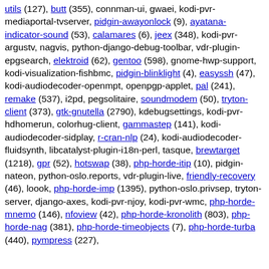utils (127), butt (355), connman-ui, gwaei, kodi-pvr-mediaportal-tvserver, pidgin-awayonlock (9), ayatana-indicator-sound (53), calamares (6), jeex (348), kodi-pvr-argustv, nagvis, python-django-debug-toolbar, vdr-plugin-epgsearch, elektroid (62), gentoo (598), gnome-hwp-support, kodi-visualization-fishbmc, pidgin-blinklight (4), easyssh (47), kodi-audiodecoder-openmpt, openpgp-applet, pal (241), remake (537), i2pd, pegsolitaire, soundmodem (50), tryton-client (373), gtk-gnutella (2790), kdebugsettings, kodi-pvr-hdhomerun, colorhug-client, gammastep (141), kodi-audiodecoder-sidplay, r-cran-nlp (24), kodi-audiodecoder-fluidsynth, libcatalyst-plugin-i18n-perl, tasque, brewtarget (1218), gpr (52), hotswap (38), php-horde-itip (10), pidgin-nateon, python-oslo.reports, vdr-plugin-live, friendly-recovery (46), loook, php-horde-imp (1395), python-oslo.privsep, tryton-server, django-axes, kodi-pvr-njoy, kodi-pvr-wmc, php-horde-mnemo (146), nfoview (42), php-horde-kronolith (803), php-horde-nag (381), php-horde-timeobjects (7), php-horde-turba (440), pympress (227),